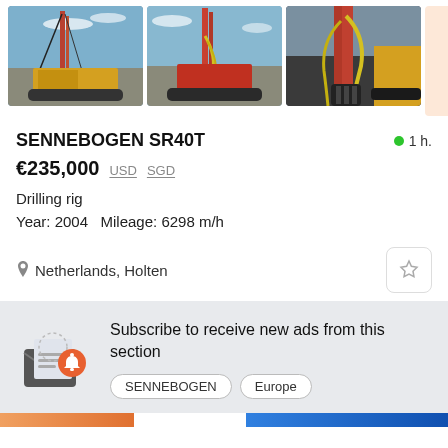[Figure (photo): Three photos of a SENNEBOGEN SR40T drilling rig machine shown from different angles, plus a partially visible fourth section with 'See' text in orange on peach background]
SENNEBOGEN SR40T
1 h.
€235,000  USD  SGD
Drilling rig
Year: 2004   Mileage: 6298 m/h
Netherlands, Holten
[Figure (illustration): Subscribe notification icon: envelope with letter and orange bell notification badge]
Subscribe to receive new ads from this section
SENNEBOGEN   Europe